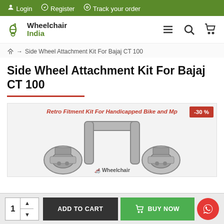Login  Register  Track your order
[Figure (logo): Wheelchair India logo with wheelchair icon]
Side Wheel Attachment Kit For Bajaj CT 100
Side Wheel Attachment Kit For Bajaj CT 100
[Figure (photo): Side Wheel Attachment Kit product photo with -30% badge and label 'Retro Fitment Kit For Handicapped Bike and Mp']
1  ADD TO CART  BUY NOW  [WhatsApp button]